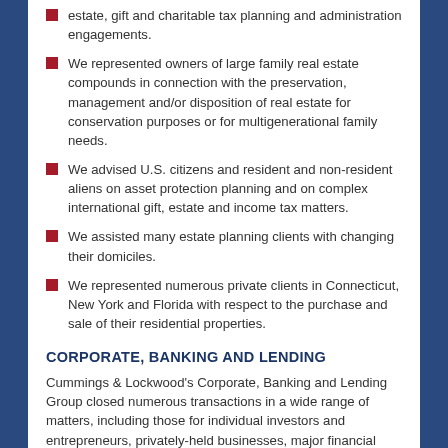estate, gift and charitable tax planning and administration engagements.
We represented owners of large family real estate compounds in connection with the preservation, management and/or disposition of real estate for conservation purposes or for multigenerational family needs.
We advised U.S. citizens and resident and non-resident aliens on asset protection planning and on complex international gift, estate and income tax matters.
We assisted many estate planning clients with changing their domiciles.
We represented numerous private clients in Connecticut, New York and Florida with respect to the purchase and sale of their residential properties.
CORPORATE, BANKING AND LENDING
Cummings & Lockwood's Corporate, Banking and Lending Group closed numerous transactions in a wide range of matters, including those for individual investors and entrepreneurs, privately-held businesses, major financial institutions and Fortune 100 companies.  Among the significant transactions in 2021 were the following: